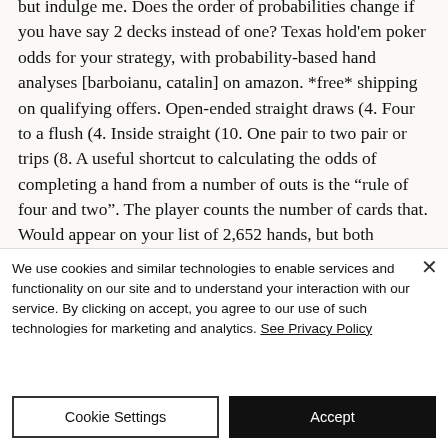but indulge me. Does the order of probabilities change if you have say 2 decks instead of one? Texas hold'em poker odds for your strategy, with probability-based hand analyses [barboianu, catalin] on amazon. *free* shipping on qualifying offers. Open-ended straight draws (4. Four to a flush (4. Inside straight (10. One pair to two pair or trips (8. A useful shortcut to calculating the odds of completing a hand from a number of outs is the “rule of four and two”. The player counts the number of cards that. Would appear on your list of 2,652 hands, but both
We use cookies and similar technologies to enable services and functionality on our site and to understand your interaction with our service. By clicking on accept, you agree to our use of such technologies for marketing and analytics. See Privacy Policy
Cookie Settings
Accept